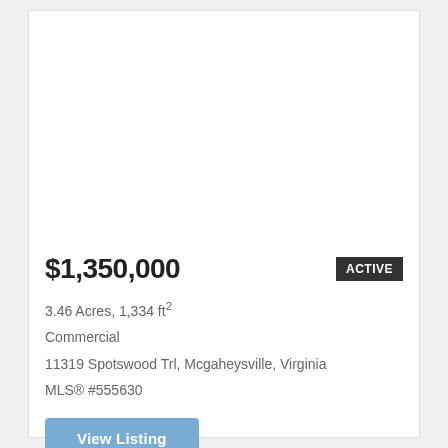[Figure (photo): Property listing photo area (blank/white in this view)]
$1,350,000
ACTIVE
3.46 Acres, 1,334 ft²
Commercial
11319 Spotswood Trl, Mcgaheysville, Virginia
MLS® #555630
View Listing